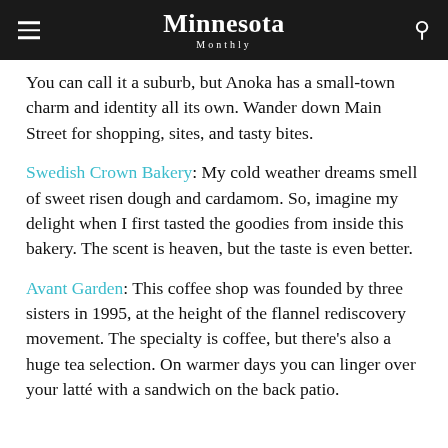Minnesota Monthly
You can call it a suburb, but Anoka has a small-town charm and identity all its own. Wander down Main Street for shopping, sites, and tasty bites.
Swedish Crown Bakery: My cold weather dreams smell of sweet risen dough and cardamom. So, imagine my delight when I first tasted the goodies from inside this bakery. The scent is heaven, but the taste is even better.
Avant Garden: This coffee shop was founded by three sisters in 1995, at the height of the flannel rediscovery movement. The specialty is coffee, but there's also a huge tea selection. On warmer days you can linger over your latté with a sandwich on the back patio.